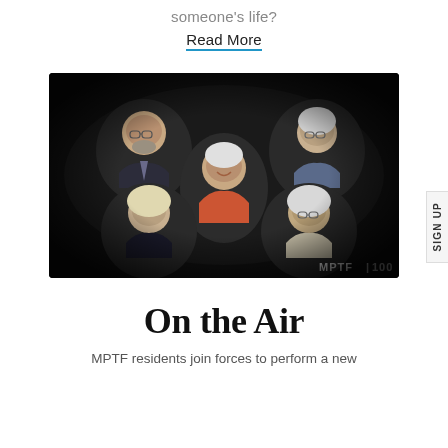someone's life?
Read More
[Figure (photo): Video call screenshot showing five elderly people arranged in an oval/vignette frame on a black background. Top-left: older man in suit with glasses and beard. Top-right: older woman with white hair and glasses in blue shirt. Center: older woman with short white hair in orange/red top, smiling. Bottom-left: older woman with blonde/white hair in dark top. Bottom-right: older woman with glasses in light cardigan. MPTF | 100 logo visible at bottom-right.]
On the Air
MPTF residents join forces to perform a new